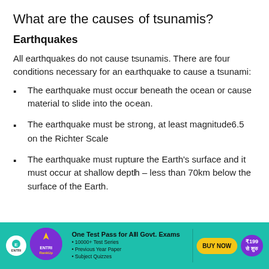What are the causes of tsunamis?
Earthquakes
All earthquakes do not cause tsunamis. There are four conditions necessary for an earthquake to cause a tsunami:
The earthquake must occur beneath the ocean or cause material to slide into the ocean.
The earthquake must be strong, at least magnitude6.5 on the Richter Scale
The earthquake must rupture the Earth's surface and it must occur at shallow depth – less than 70km below the surface of the Earth.
[Figure (infographic): ENTRI advertisement banner: One Test Pass for All Govt. Exams. 10000+ Test Series, Previous Year Paper, Subject Quizzes. BUY NOW. ₹199 से शुरु]